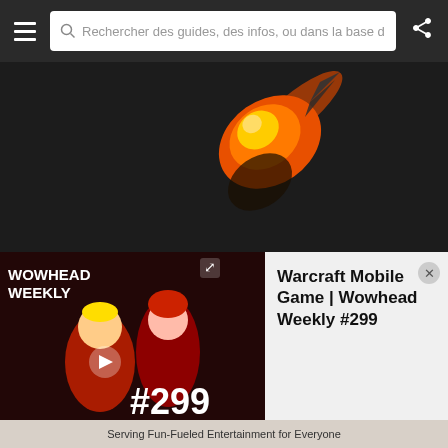Rechercher des guides, des infos, ou dans la base d
[Figure (screenshot): Dark background with an orange flame/comet illustration at the top]
Next Hearthstone Expansion Announcement Slated for November 4
[Figure (screenshot): BlizzCon 2016 logo badge image partially visible]
[Figure (screenshot): Wowhead Weekly #299 video thumbnail overlay with anime-style characters]
Warcraft Mobile Game | Wowhead Weekly #299
Serving Fun-Fueled Entertainment for Everyone